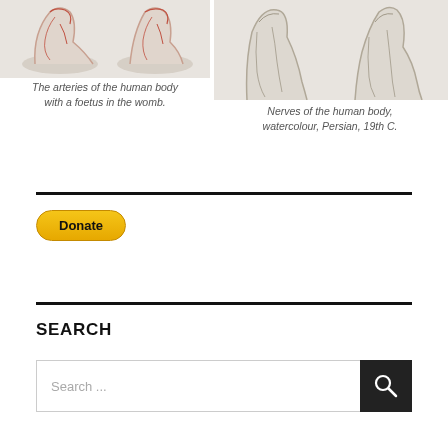[Figure (illustration): Illustration of the arteries of the human body with a foetus in the womb — showing feet/lower limbs in red and beige tones on a gray background]
The arteries of the human body with a foetus in the womb.
[Figure (illustration): Illustration of the nerves of the human body, watercolour, Persian, 19th C. — showing lower limbs in outline/gray tones on gray background]
Nerves of the human body, watercolour, Persian, 19th C.
[Figure (other): PayPal Donate button]
SEARCH
Search ...